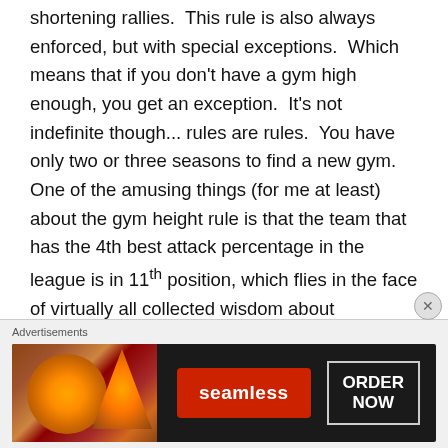shortening rallies.  This rule is also always enforced, but with special exceptions.  Which means that if you don't have a gym high enough, you get an exception.  It's not indefinite though... rules are rules.  You have only two or three seasons to find a new gym.  One of the amusing things (for me at least) about the gym height rule is that the team that has the 4th best attack percentage in the league is in 11th position, which flies in the face of virtually all collected wisdom about volleyball.  The two possible explanations are that they have outstanding individual players who just don't quite mesh as a team in decisive moments, or they play half their games inside a
[Figure (other): Advertisement banner for Seamless food ordering service showing pizza image on left, Seamless logo in red button in center, and ORDER NOW button on right, all on dark background. Label 'Advertisements' appears above.]